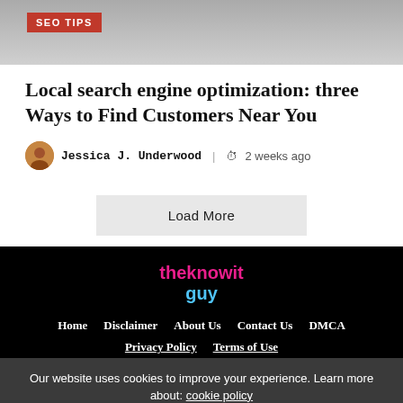SEO TIPS
Local search engine optimization: three Ways to Find Customers Near You
Jessica J. Underwood | 2 weeks ago
Load More
[Figure (logo): theknowit guy logo in pink and blue text on black background]
Home   Disclaimer   About Us   Contact Us   DMCA
Privacy Policy   Terms of Use
Our website uses cookies to improve your experience. Learn more about: cookie policy
Accept